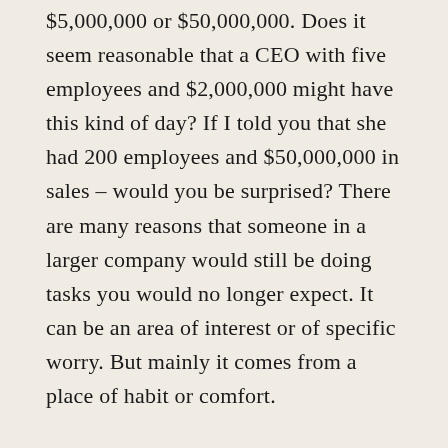$5,000,000 or $50,000,000. Does it seem reasonable that a CEO with five employees and $2,000,000 might have this kind of day? If I told you that she had 200 employees and $50,000,000 in sales – would you be surprised? There are many reasons that someone in a larger company would still be doing tasks you would no longer expect. It can be an area of interest or of specific worry. But mainly it comes from a place of habit or comfort.
For some of us, there is a perverse thrill in mastering new skills or pushing through to get to the next level. Conversely, when our lists are long and we need a win, we like completing the mundane or simple tasks because it gives us